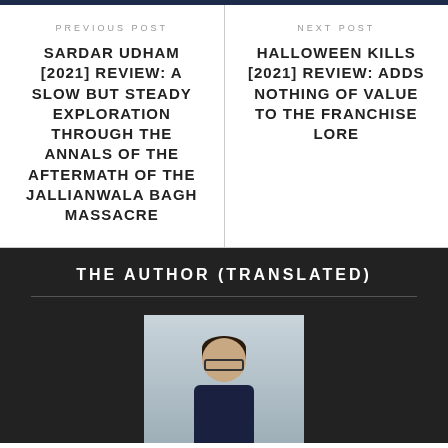PREVIOUS POST
SARDAR UDHAM [2021] REVIEW: A SLOW BUT STEADY EXPLORATION THROUGH THE ANNALS OF THE AFTERMATH OF THE JALLIANWALA BAGH MASSACRE
NEXT POST
HALLOWEEN KILLS [2021] REVIEW: ADDS NOTHING OF VALUE TO THE FRANCHISE LORE
THE AUTHOR (TRANSLATED)
[Figure (photo): Author photo showing a young man with glasses and dark hair, smiling, wearing a dark shirt, photographed outdoors]